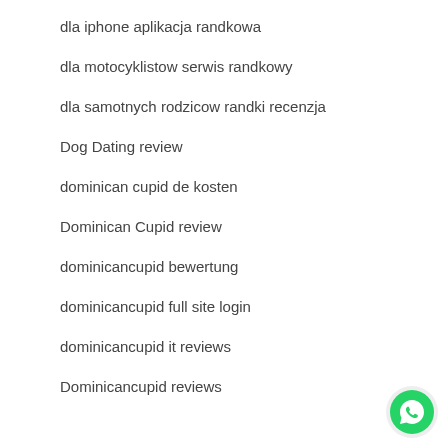dla iphone aplikacja randkowa
dla motocyklistow serwis randkowy
dla samotnych rodzicow randki recenzja
Dog Dating review
dominican cupid de kosten
Dominican Cupid review
dominicancupid bewertung
dominicancupid full site login
dominicancupid it reviews
Dominicancupid reviews